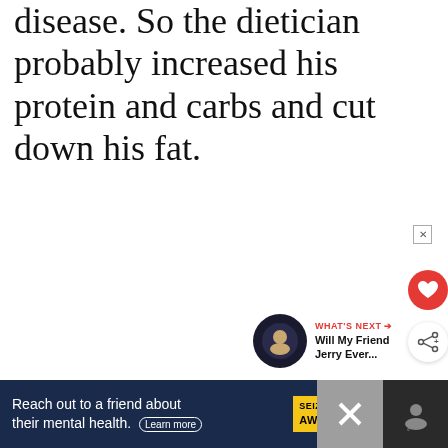disease. So the dietician probably increased his protein and carbs and cut down his fat.
[Figure (screenshot): Big Brothers Big Sisters advertisement banner with green background. Text reads: MILLIONS OF KIDS ARE GROWING UP WITHOUT A MENTOR. BECOME A BIG TODAY. Learn How button.]
[Figure (screenshot): Red circular heart/like button and white circular share button on right side of page.]
[Figure (screenshot): What's Next section with thumbnail and text: Will My Friend Jerry Ever...]
[Figure (screenshot): Bottom banner ad: Reach out to a friend about their mental health. Learn more. SEIZE THE AWKWARD badge.]